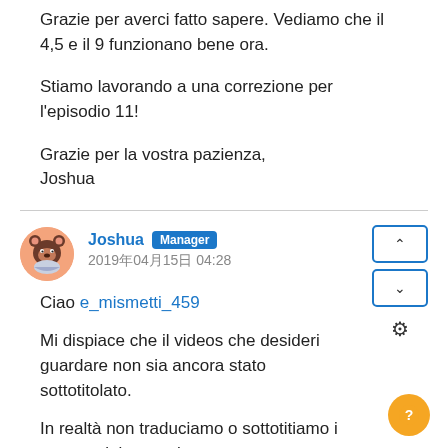Grazie per averci fatto sapere. Vediamo che il 4,5 e il 9 funzionano bene ora.
Stiamo lavorando a una correzione per l'episodio 11!
Grazie per la vostra pazienza,
Joshua
Joshua Manager
2019年04月15日 04:28
Ciao e_mismetti_459
Mi dispiace che il videos che desideri guardare non sia ancora stato sottotitolato.
In realtà non traduciamo o sottotitiamo i contenuti; invece, la nostra appassionata